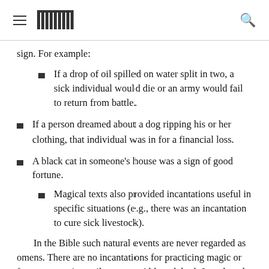[Navigation header with hamburger menu, logo, and search icon]
sign. For example:
If a drop of oil spilled on water split in two, a sick individual would die or an army would fail to return from battle.
If a person dreamed about a dog ripping his or her clothing, that individual was in for a financial loss.
A black cat in someone's house was a sign of good fortune.
Magical texts also provided incantations useful in specific situations (e.g., there was an incantation to cure sick livestock).
In the Bible such natural events are never regarded as omens. There are no incantations for practicing magic or for counteracting evil portents. Although both Joseph and Daniel interpreted dreams based upon God's leading, no